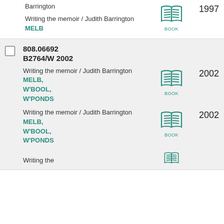Writing the memoir / Judith Barrington MELB
1997
808.06692 B2764/W 2002
Writing the memoir / Judith Barrington MELB, W'BOOL, W'PONDS
2002
Writing the memoir / Judith Barrington MELB, W'BOOL, W'PONDS
2002
Writing the